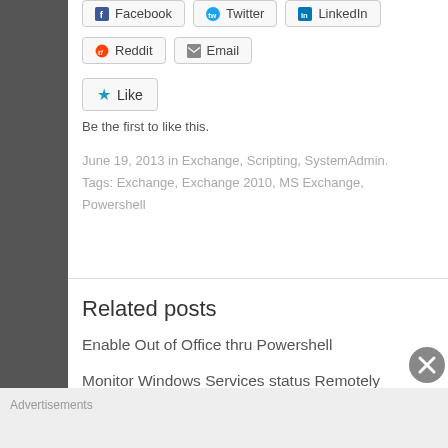[Figure (other): Social share buttons row: Facebook, Twitter, LinkedIn]
[Figure (other): Social share buttons row: Reddit, Email]
[Figure (other): Like button with star icon]
Be the first to like this.
June 19, 2013 in Exchange, Scripting, SystemAdmin. Tags: Exchange, Exchange 2010, MS Exchange, Powershell
Related posts
Enable Out of Office thru Powershell
Monitor Windows Services status Remotely
ADD additional SMTP Email Address Exchange
Advertisements